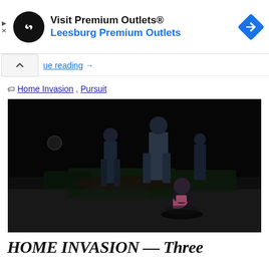[Figure (screenshot): Advertisement banner for Visit Premium Outlets / Leesburg Premium Outlets with circular black logo with infinity-like symbol, navigation diamond icon on right, and small ad triangle/X icons on left]
ue reading →
🏷 Home Invasion, Pursuit
[Figure (photo): Dark nighttime outdoor scene showing figures standing near a roadside, one person crouching in foreground with pink clothing visible, mostly dark background]
HOME INVASION — Three